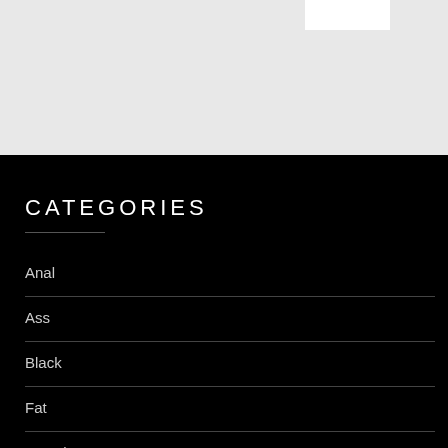[Figure (other): Gray background section with white rectangle element at top]
CATEGORIES
Anal
Ass
Black
Fat
Female
Foto